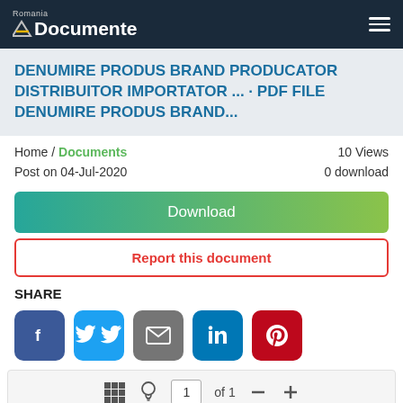Romania Documente
DENUMIRE PRODUS BRAND PRODUCATOR DISTRIBUITOR IMPORTATOR ... · PDF FILE DENUMIRE PRODUS BRAND...
Home / Documents   10 Views
Post on 04-Jul-2020   0 download
Download
Report this document
SHARE
[Figure (other): Social sharing icons: Facebook, Twitter, Email, LinkedIn, Pinterest]
[Figure (other): Document viewer toolbar with grid icon, lightbulb icon, page input showing 1, of 1 text, minus and plus buttons]